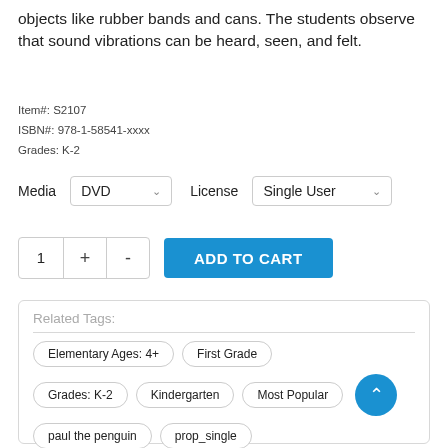objects like rubber bands and cans. The students observe that sound vibrations can be heard, seen, and felt.
Item#: S2107
ISBN#: 978-1-58541-xxxx
Grades: K-2
Media DVD   License Single User
1 + - ADD TO CART
Related Tags:
Elementary Ages: 4+
First Grade
Grades: K-2
Kindergarten
Most Popular
paul the penguin
prop_single